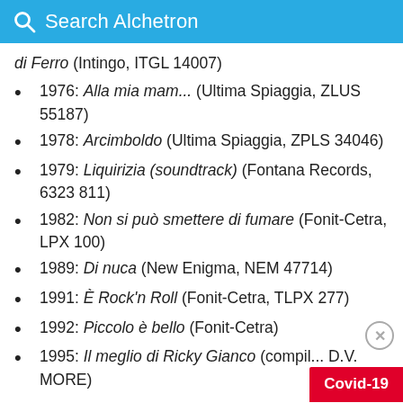Search Alchetron
di Ferro (Intingo, ITGL 14007)
1976: Alla mia mam... (Ultima Spiaggia, ZLUS 55187)
1978: Arcimboldo (Ultima Spiaggia, ZPLS 34046)
1979: Liquirizia (soundtrack) (Fontana Records, 6323 811)
1982: Non si può smettere di fumare (Fonit-Cetra, LPX 100)
1989: Di nuca (New Enigma, NEM 47714)
1991: È Rock'n Roll (Fonit-Cetra, TLPX 277)
1992: Piccolo è bello (Fonit-Cetra)
1995: Il meglio di Ricky Gianco (compil... D.V. MORE)